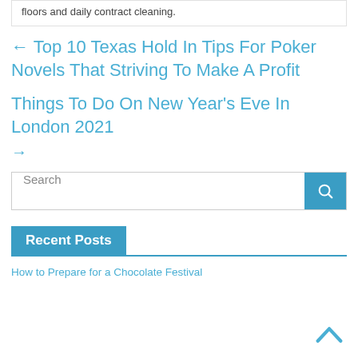floors and daily contract cleaning.
← Top 10 Texas Hold In Tips For Poker Novels That Striving To Make A Profit
Things To Do On New Year's Eve In London 2021 →
Search
Recent Posts
How to Prepare for a Chocolate Festival